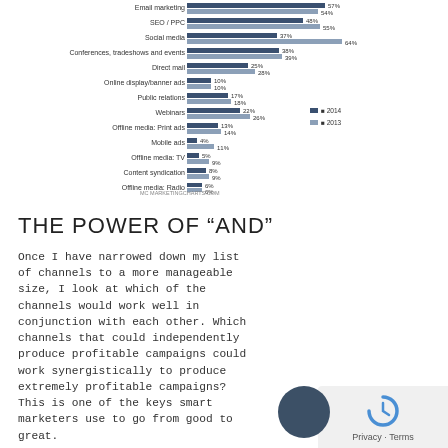[Figure (grouped-bar-chart): Marketing Channels Usage]
THE POWER OF “AND”
Once I have narrowed down my list of channels to a more manageable size, I look at which of the channels would work well in conjunction with each other. Which channels that could independently produce profitable campaigns could work synergistically to produce extremely profitable campaigns? This is one of the keys smart marketers use to go from good to great.
List out how Channel 1 AND Channel 2 AND Channel 3 can work together within your budget. and now you’ve